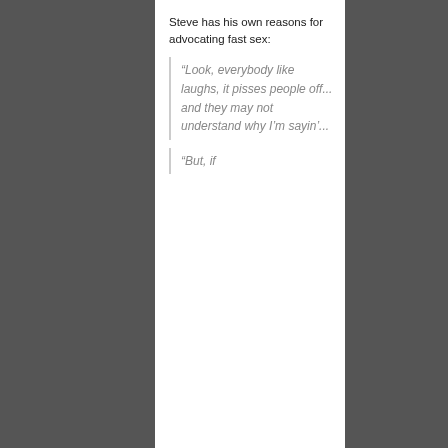Steve has his own reasons for advocating fast sex:
“Look, everybody like laughs, it pisses people off... and they may not understand why I’m sayin’...
“But, if